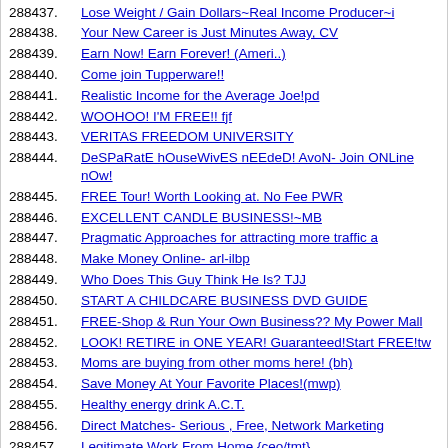288437. Lose Weight / Gain Dollars~Real Income Producer~i
288438. Your New Career is Just Minutes Away, CV
288439. Earn Now! Earn Forever! (Ameri..)
288440. Come join Tupperware!!
288441. Realistic Income for the Average Joe!pd
288442. WOOHOO! I'M FREE!! fjf
288443. VERITAS FREEDOM UNIVERSITY
288444. DeSPaRatE hOuseWivES nEEdeD! AvoN- Join ONLine nOw!
288445. FREE Tour! Worth Looking at. No Fee PWR
288446. EXCELLENT CANDLE BUSINESS!~MB
288447. Pragmatic Approaches for attracting more traffic a
288448. Make Money Online- arl-ilbp
288449. Who Does This Guy Think He Is? TJJ
288450. START A CHILDCARE BUSINESS DVD GUIDE
288451. FREE-Shop & Run Your Own Business?? My Power Mall
288452. LOOK! RETIRE in ONE YEAR! Guaranteed!Start FREE!tw
288453. Moms are buying from other moms here! (bh)
288454. Save Money At Your Favorite Places!(mwp)
288455. Healthy energy drink A.C.T.
288456. Direct Matches- Serious , Free, Network Marketing
288457. Legitimate Work From Home {ceo/tmt}
288458. Money in your pocket for the hoildays!